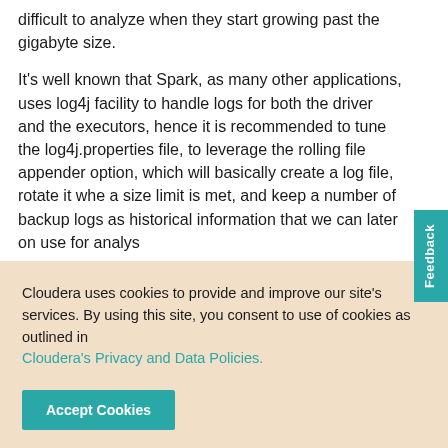difficult to analyze when they start growing past the gigabyte size.
It's well known that Spark, as many other applications, uses log4j facility to handle logs for both the driver and the executors, hence it is recommended to tune the log4j.properties file, to leverage the rolling file appender option, which will basically create a log file, rotate it when a size limit is met, and keep a number of backup logs as historical information that we can later on use for analys...
Cloudera uses cookies to provide and improve our site's services. By using this site, you consent to use of cookies as outlined in Cloudera's Privacy and Data Policies.